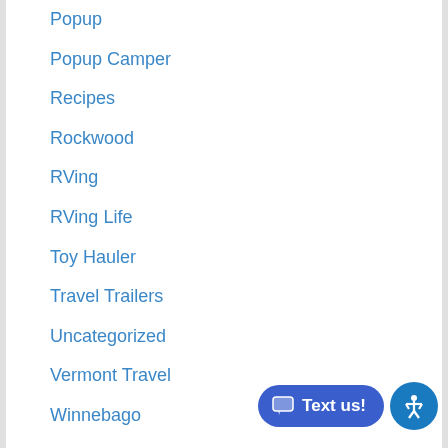Popup
Popup Camper
Recipes
Rockwood
RVing
RVing Life
Toy Hauler
Travel Trailers
Uncategorized
Vermont Travel
Winnebago
RECENT POSTS
Della Terra Review: These Travel Trailers are Built for Adventure